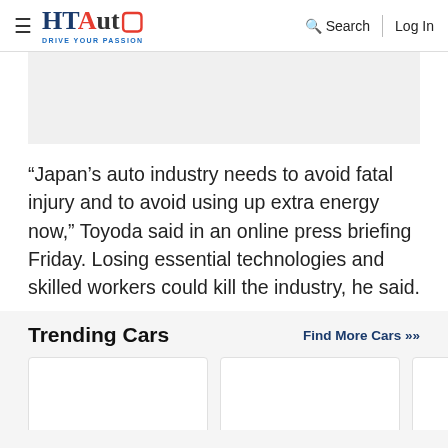HT Auto - Drive Your Passion | Search | Log In
[Figure (other): Advertisement placeholder grey box]
“Japan’s auto industry needs to avoid fatal injury and to avoid using up extra energy now,” Toyoda said in an online press briefing Friday. Losing essential technologies and skilled workers could kill the industry, he said.
Trending Cars
Find More Cars »
[Figure (other): Car card image placeholder 1]
[Figure (other): Car card image placeholder 2]
[Figure (other): Car card image placeholder 3 (partial)]